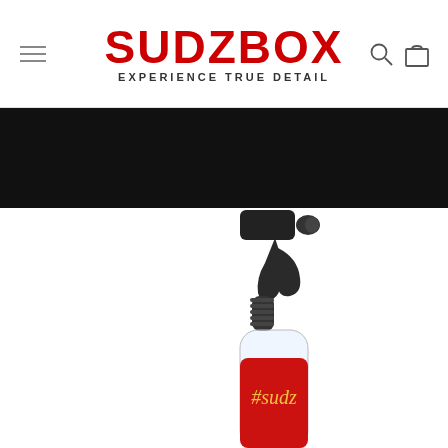[Figure (screenshot): Website header for SUDZBOX with hamburger menu icon on left, SUDZBOX logo in red with tagline 'EXPERIENCE TRUE DETAIL' in center, search and cart icons on right]
[Figure (photo): Black banner/hero section below the header, solid dark background]
[Figure (photo): Spray bottle with black trigger mechanism and red label reading #sudz, photographed on white background, partially cropped at bottom]